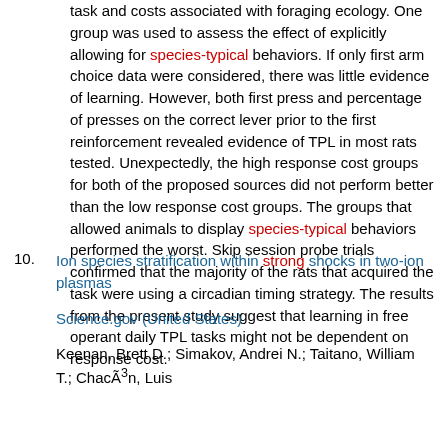task and costs associated with foraging ecology. One group was used to assess the effect of explicitly allowing for species-typical behaviors. If only first arm choice data were considered, there was little evidence of learning. However, both first press and percentage of presses on the correct lever prior to the first reinforcement revealed evidence of TPL in most rats tested. Unexpectedly, the high response cost groups for both of the proposed sources did not perform better than the low response cost groups. The groups that allowed animals to display species-typical behaviors performed the worst. Skip session probe trials confirmed that the majority of the rats that acquired the task were using a circadian timing strategy. The results from the present study suggest that learning in free operant daily TPL tasks might not be dependent on response cost.
10. Ion species stratification within strong shocks in two-ion plasmas — Science.gov (United States) — Keenan, Brett D.; Simakov, Andrei N.; Taitano, William T.; Chacón, Luis